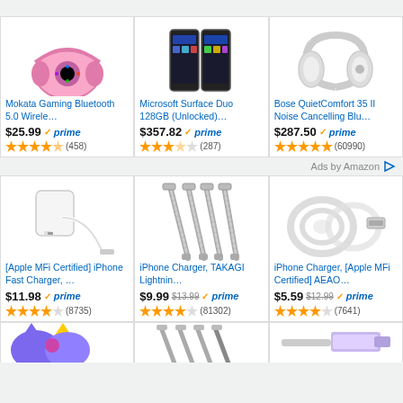[Figure (photo): Pink Mokata gaming headphones with LED lights]
Mokata Gaming Bluetooth 5.0 Wirele…
$25.99 prime (458) 4.5 stars
[Figure (photo): Microsoft Surface Duo folded phone]
Microsoft Surface Duo 128GB (Unlocked)…
$357.82 prime (287) 3.5 stars
[Figure (photo): Bose QuietComfort 35 II white headphones]
Bose QuietComfort 35 II Noise Cancelling Blu…
$287.50 prime (60990) 5 stars
Ads by Amazon
[Figure (photo): Apple MFi Certified iPhone Fast Charger white block and cable]
[Apple MFi Certified] iPhone Fast Charger, …
$11.98 prime (8735) 4.5 stars
[Figure (photo): iPhone charger TAKAGI Lightning cables braided silver set of 4]
iPhone Charger, TAKAGI Lightnin…
$9.99 $13.99 prime (81302) 4.5 stars
[Figure (photo): iPhone Charger Apple MFi certified white cables coiled]
iPhone Charger, [Apple MFi Certified] AEAO…
$5.59 $12.99 prime (7641) 4.5 stars
[Figure (photo): Partial view of colorful cat ear headphones]
[Figure (photo): Partial view of multi-cable phone chargers]
[Figure (photo): Partial view of USB cable]